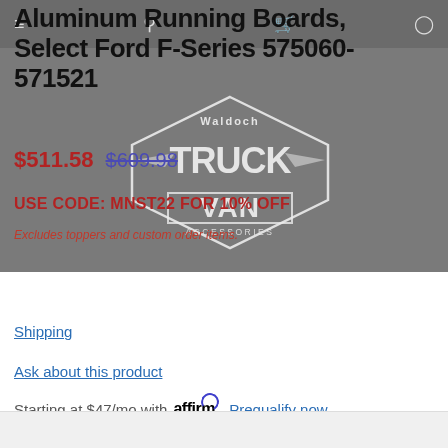Navigation bar with menu, search, cart, and account icons
Aluminum Running Boards, Select Ford F-Series 575060-571521
$511.58  $609.98
USE CODE: MNST22 FOR 10% OFF
Excludes toppers and custom order items.
[Figure (logo): Waldoch Truck Van Accessories logo watermark overlay]
Shipping
Ask about this product
Starting at $47/mo with affirm. Prequalify now